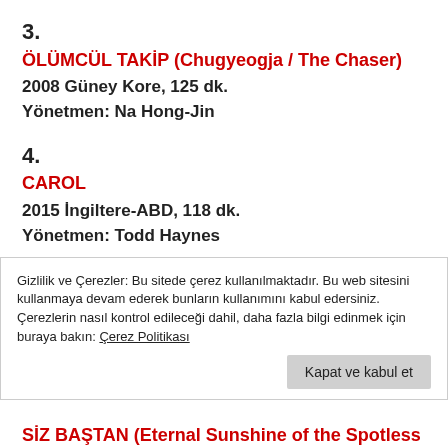3.
ÖLÜMCÜL TAKİP (Chugyeogja / The Chaser)
2008 Güney Kore, 125 dk.
Yönetmen: Na Hong-Jin
4.
CAROL
2015 İngiltere-ABD, 118 dk.
Yönetmen: Todd Haynes
5.
(partial red title, cropped)
Gizlilik ve Çerezler: Bu sitede çerez kullanılmaktadır. Bu web sitesini kullanmaya devam ederek bunların kullanımını kabul edersiniz. Çerezlerin nasıl kontrol edileceği dahil, daha fazla bilgi edinmek için buraya bakın: Çerez Politikası
Kapat ve kabul et
SİZ BAŞTAN (Eternal Sunshine of the Spotless Mind)